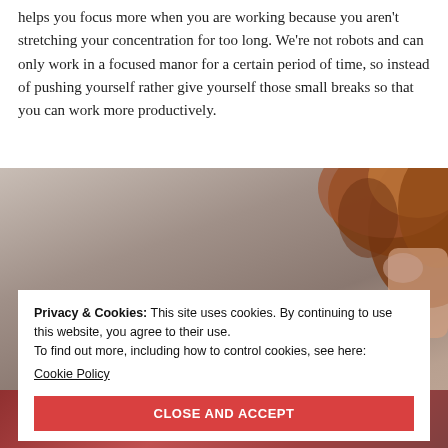helps you focus more when you are working because you aren't stretching your concentration for too long. We're not robots and can only work in a focused manor for a certain period of time, so instead of pushing yourself rather give yourself those small breaks so that you can work more productively.
[Figure (photo): Photo of a person with reddish-brown hair, partially visible, appearing to look down, with a neutral background]
Privacy & Cookies: This site uses cookies. By continuing to use this website, you agree to their use.
To find out more, including how to control cookies, see here:
Cookie Policy
CLOSE AND ACCEPT